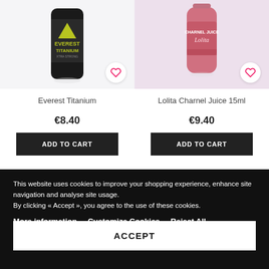[Figure (photo): Everest Titanium energy drink can, black with yellow-green branding, on light background with heart/wishlist button]
Everest Titanium
€8.40
ADD TO CART
[Figure (photo): Lolita Charnel Juice 15ml bottle, pink/rose colored, on light purple background with heart/wishlist button]
Lolita Charnel Juice 15ml
€9.40
ADD TO CART
This website uses cookies to improve your shopping experience, enhance site navigation and analyse site usage.
By clicking « Accept », you agree to the use of these cookies.
More information   Customize Cookies   Reject All
ACCEPT